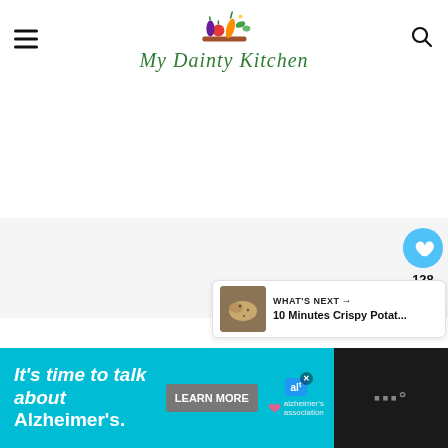My Dainty Kitchen
[Figure (logo): My Dainty Kitchen logo with colorful vegetables illustration above cursive green text 'My Dainty Kitchen']
[Figure (screenshot): Main content area showing mostly blank/white and light gray section, possibly a recipe page still loading]
[Figure (infographic): Heart/like button (blue circle with white heart icon), count 128, and share button (white circle with share icon)]
128
[Figure (infographic): WHAT'S NEXT arrow label with thumbnail of crispy potatoes and text '10 Minutes Crispy Potat...']
WHAT'S NEXT → 10 Minutes Crispy Potat...
[Figure (infographic): Advertisement banner: 'It's time to talk about Alzheimer's.' with Learn More button and Alzheimer's Association logo on teal/cyan background, dark right side]
It's time to talk about Alzheimer's.